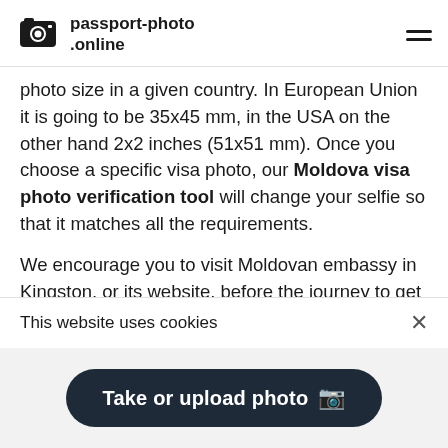passport-photo.online
photo size in a given country. In European Union it is going to be 35x45 mm, in the USA on the other hand 2x2 inches (51x51 mm). Once you choose a specific visa photo, our Moldova visa photo verification tool will change your selfie so that it matches all the requirements.
We encourage you to visit Moldovan embassy in Kingston, or its website, before the journey to get familiar with the new information for tourists and immigrants.
There are many photography studios in Spanish Town or
This website uses cookies
Take or upload photo 📷